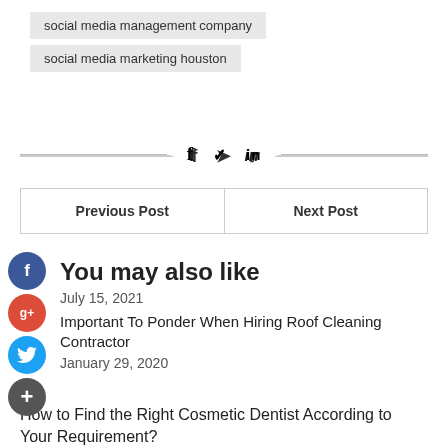social media management company
social media marketing houston
[Figure (infographic): Social share icons: f (Facebook), bird (Twitter), in (LinkedIn) with horizontal divider lines on each side]
| Previous Post | Next Post |
| --- | --- |
[Figure (infographic): Floating social share buttons: Facebook (blue circle f), Google+ (red circle g+), Twitter (blue circle bird), Add (dark circle +)]
You may also like
July 15, 2021
Important To Ponder When Hiring Roof Cleaning Contractor
January 29, 2020
How to Find the Right Cosmetic Dentist According to Your Requirement?